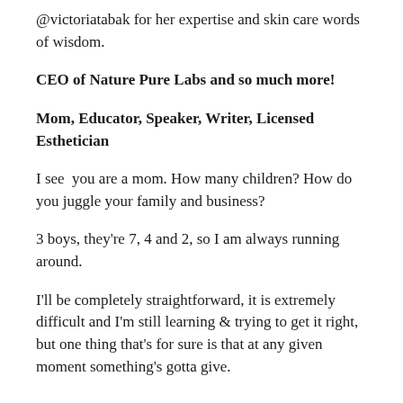@victoriatabak for her expertise and skin care words of wisdom.
CEO of Nature Pure Labs and so much more!
Mom, Educator, Speaker, Writer, Licensed Esthetician
I see  you are a mom. How many children? How do you juggle your family and business?
3 boys, they're 7, 4 and 2, so I am always running around.
I'll be completely straightforward, it is extremely difficult and I'm still learning & trying to get it right, but one thing that's for sure is that at any given moment something's gotta give.